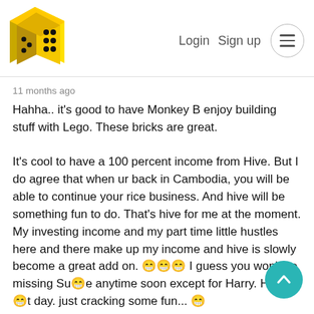Login  Sign up  ☰
11 months ago
Hahha.. it's good to have Monkey B enjoy building stuff with Lego. These bricks are great.

It's cool to have a 100 percent income from Hive. But I do agree that when ur back in Cambodia, you will be able to continue your rice business. And hive will be something fun to do. That's hive for me at the moment. My investing income and my part time little hustles here and there make up my income and hive is slowly become a great add on. 😁😁😁 I guess you won't be missing Su😁e anytime soon except for Harry. Have a😁t day. just cracking some fun... 😁